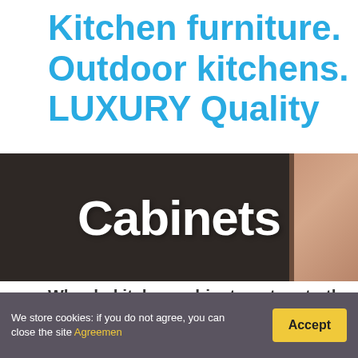Kitchen furniture. Outdoor kitchens. LUXURY Quality
[Figure (photo): Sign or storefront displaying the word 'Cabinets' in large white letters on a dark background, with a partial view of wood paneling and a person's arm on the right side.]
Why do kitchen cabinets not go to the ce
Ceiling height cabinets are not easy to access as they a these cabinets is quite hard to access hence you will things. This also poses some very serious safety concern
We store cookies: if you do not agree, you can close the site Agreemen